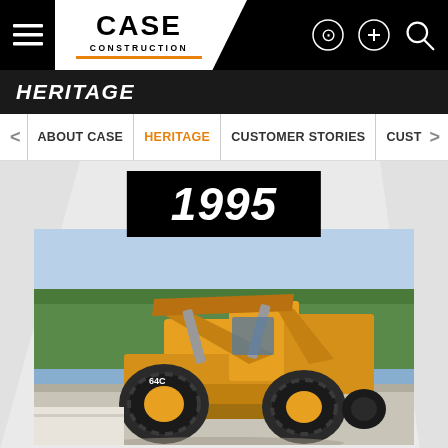CASE CONSTRUCTION — website screenshot
HERITAGE
1995
[Figure (photo): Yellow CASE Construction skid steer loader (model 64C) photographed outdoors on a concrete surface with trees in the background. The machine has large rubber tires, an articulated arm with bucket linkage raised, and a protective cab structure.]